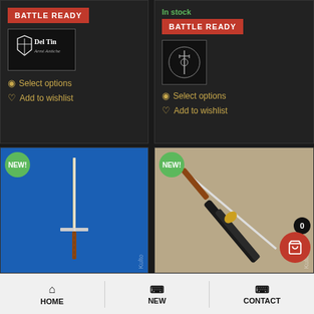[Figure (screenshot): E-commerce product listing page for medieval/samurai swords showing four product cards with Battle Ready badges, brand logos, NEW badges, and product images]
In stock
BATTLE READY
BATTLE READY
Select options
Add to wishlist
Select options
Add to wishlist
NEW!
NEW!
HOME | NEW | CONTACT